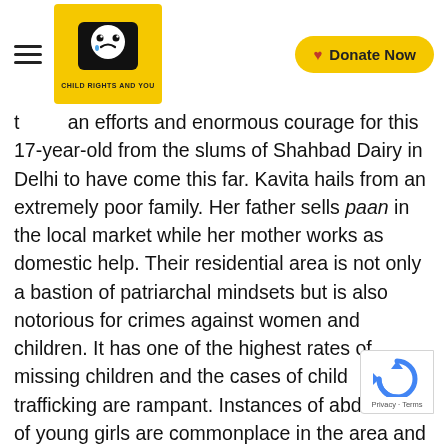CRY – Child Rights and You | Donate Now
taken her own efforts and enormous courage for this 17-year-old from the slums of Shahbad Dairy in Delhi to have come this far. Kavita hails from an extremely poor family. Her father sells paan in the local market while her mother works as domestic help. Their residential area is not only a bastion of patriarchal mindsets but is also notorious for crimes against women and children. It has one of the highest rates of missing children and the cases of child trafficking are rampant. Instances of abduction of young girls are commonplace in the area and public toilets have been breeding grounds of rape and violence against women. Two of Kavita's elder